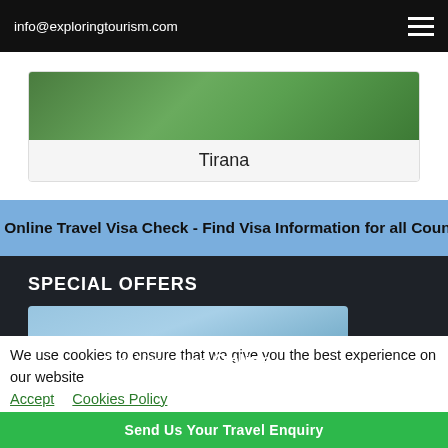info@exploringtourism.com
Tirana
Online Travel Visa Check - Find Visa Information for all Countries | www.iVISA.co
SPECIAL OFFERS
[Figure (illustration): Get Your Visa Online - Fast & Easy promotional banner with mountain landscape background]
We use cookies to ensure that we give you the best experience on our website  Accept  Cookies Policy
Send Us Your Travel Enquiry